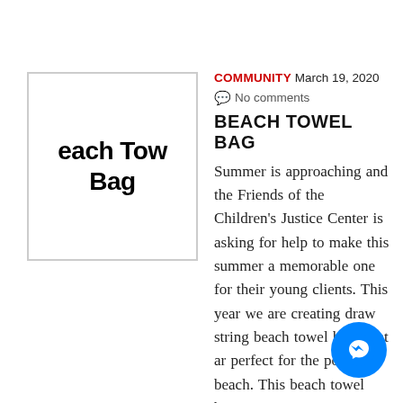[Figure (illustration): Thumbnail image showing text 'Beach Towel Bag' in bold black font inside a light-bordered box]
COMMUNITY March 19, 2020
No comments
BEACH TOWEL BAG
Summer is approaching and the Friends of the Children's Justice Center is asking for help to make this summer a memorable one for their young clients. This year we are creating draw string beach towel bags that are perfect for the pool or the beach. This beach towel bag